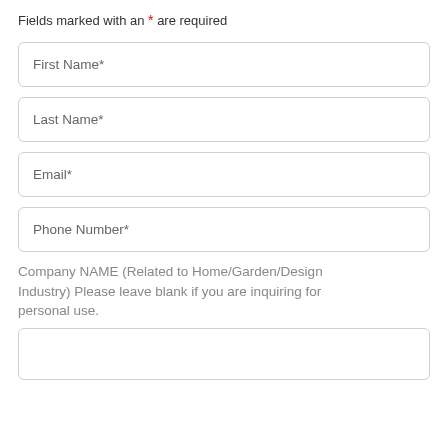Fields marked with an * are required
First Name*
Last Name*
Email*
Phone Number*
Company NAME (Related to Home/Garden/Design Industry) Please leave blank if you are inquiring for personal use.